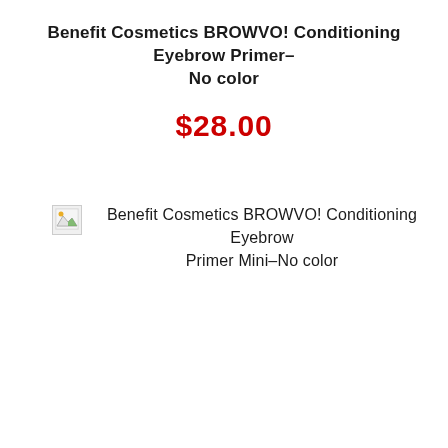Benefit Cosmetics BROWVO! Conditioning Eyebrow Primer– No color
$28.00
[Figure (photo): Broken image placeholder icon for Benefit Cosmetics BROWVO! Conditioning Eyebrow Primer Mini–No color]
Benefit Cosmetics BROWVO! Conditioning Eyebrow Primer Mini–No color